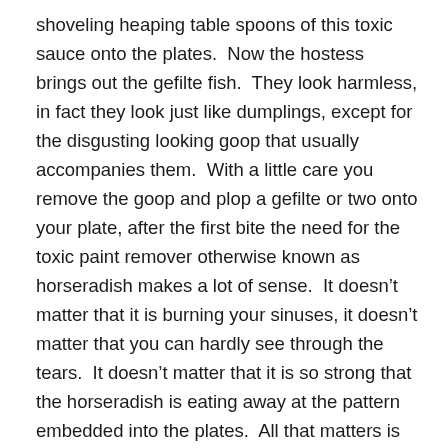shoveling heaping table spoons of this toxic sauce onto the plates.  Now the hostess brings out the gefilte fish.  They look harmless, in fact they look just like dumplings, except for the disgusting looking goop that usually accompanies them.  With a little care you remove the goop and plop a gefilte or two onto your plate, after the first bite the need for the toxic paint remover otherwise known as horseradish makes a lot of sense.  It doesn't matter that it is burning your sinuses, it doesn't matter that you can hardly see through the tears.  It doesn't matter that it is so strong that the horseradish is eating away at the pattern embedded into the plates.  All that matters is that you get enough horseradish on the gefilte fish so you can no longer taste the fish, in fact the goal now is to simply kill your taste buds.  It has taken me years to realize that I just don't have to eat any of it in the first